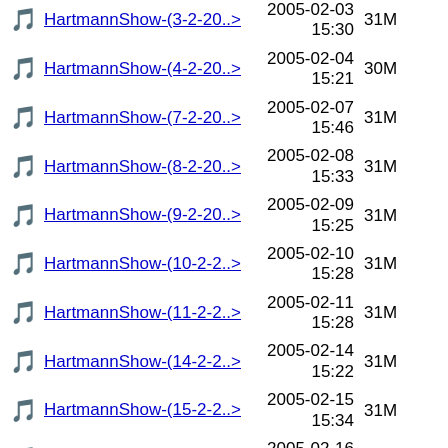HartmannShow-(3-2-20..> 2005-02-03 15:30 31M
HartmannShow-(4-2-20..> 2005-02-04 15:21 30M
HartmannShow-(7-2-20..> 2005-02-07 15:46 31M
HartmannShow-(8-2-20..> 2005-02-08 15:33 31M
HartmannShow-(9-2-20..> 2005-02-09 15:25 31M
HartmannShow-(10-2-2..> 2005-02-10 15:28 31M
HartmannShow-(11-2-2..> 2005-02-11 15:28 31M
HartmannShow-(14-2-2..> 2005-02-14 15:22 31M
HartmannShow-(15-2-2..> 2005-02-15 15:34 31M
HartmannShow-(16-2-2..> 2005-02-16 16:47 30M
HartmannShow-(17-2-2..> 2005-02-17 16:14 21M
HartmannShow-(18-2-2..> 2005-02-19 31M